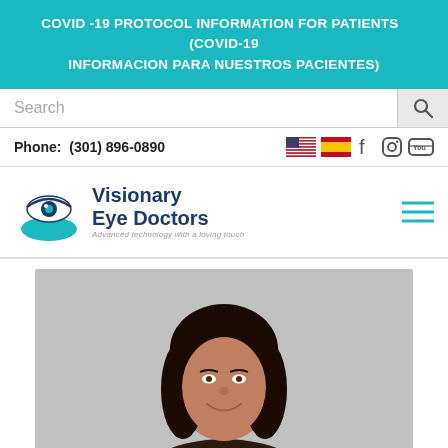COVID -19 PROTOCOL INFORMATION FOR PATIENTS   (COVID-19 INFORMACION PARA NUESTROS PACIENTES)
Search
Phone:  (301) 896-0890
[Figure (logo): Visionary Eye Doctors logo with eye and hand icon. Text reads: Visionary Eye Doctors. Advanced technology with a loving touch]
[Figure (photo): Professional headshot photo of a woman with long dark hair, smiling, against a grey background]